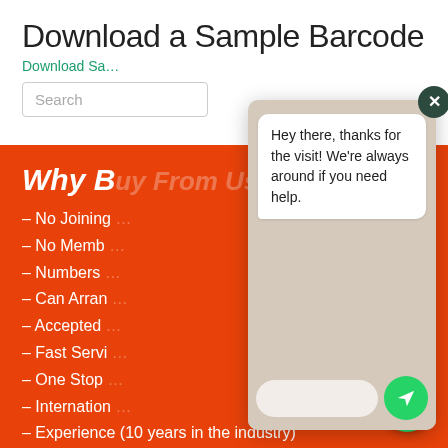Download a Sample Barcode
Download Sa...
– No Joining...
– No Memb...
– Numbers...
– Can Arran...
– Accepted...
– Fast Servi...
– One Stop...
– Internation...
– Experience (10 years in the industry)
– Free barcode registration with barcode packages
[Figure (screenshot): WhatsApp chat popup overlay with message: 'Hey there, thanks for the visit! We're always around if you need help.' with a text input and send button, overlaying the main page content.]